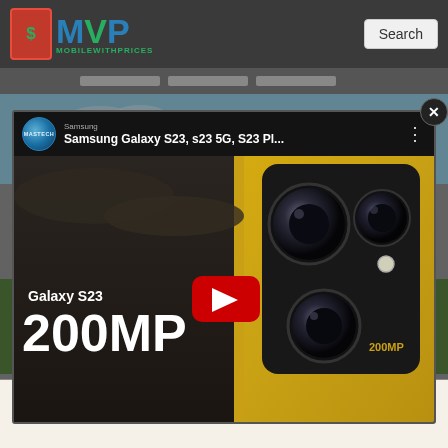MVP MobileWithPrices | Search
[Figure (screenshot): YouTube video thumbnail popup showing Samsung Galaxy S23 200MP camera concept with gold phone. Channel: MASTECH. Title: Samsung Galaxy S23, s23 5G, S23 Pl... Play button visible. Close button (x) in top right corner.]
[Figure (photo): Background photo of brick apartment building with trees in foreground]
Your Final Opportunity to Call